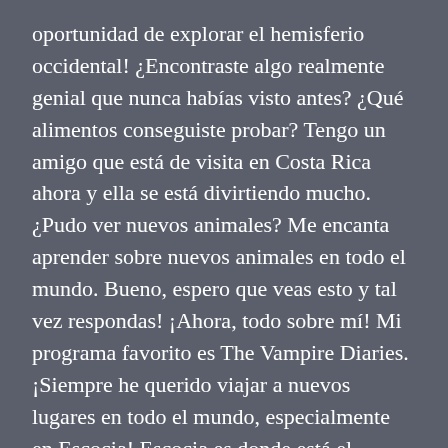oportunidad de explorar el hemisferio occidental! ¿Encontraste algo realmente genial que nunca habías visto antes? ¿Qué alimentos conseguiste probar? Tengo un amigo que está de visita en Costa Rica ahora y ella se está divirtiendo mucho. ¿Pudo ver nuevos animales? Me encanta aprender sobre nuevos animales en todo el mundo. Bueno, espero que veas esto y tal vez respondas! ¡Ahora, todo sobre mí! Mi programa favorito es The Vampire Diaries. ¡Siempre he querido viajar a nuevos lugares en todo el mundo, especialmente en Escocia! Escocia es donde está el escudo de mi familia, así que creo que sería una aventura increíble.
On Thu, Feb 15, 2018 at 5:35 PM,